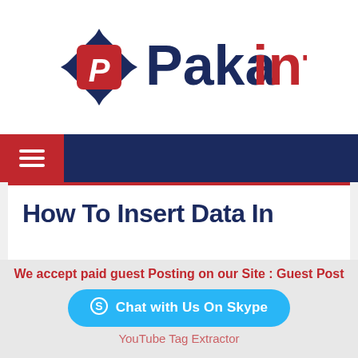[Figure (logo): Pakainfo logo with diamond/compass icon in navy and red, text 'Paka' in navy and 'info' in red]
Navigation bar with hamburger menu icon on red background
How To Insert Data In
We accept paid guest Posting on our Site : Guest Post
Chat with Us On Skype
YouTube Tag Extractor